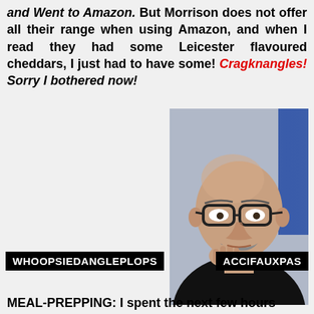and Went to Amazon. But Morrison does not offer all their range when using Amazon, and when I read they had some Leicester flavoured cheddars, I just had to have some! Cragknangles! Sorry I bothered now!
[Figure (photo): An older bald man with glasses and a moustache wearing a black top, making a displeased expression while touching his mouth, photographed indoors.]
WHOOPSIEDANGLEPLOPS    ACCIFAUXPAS
MEAL-PREPPING: I spent the next few hours